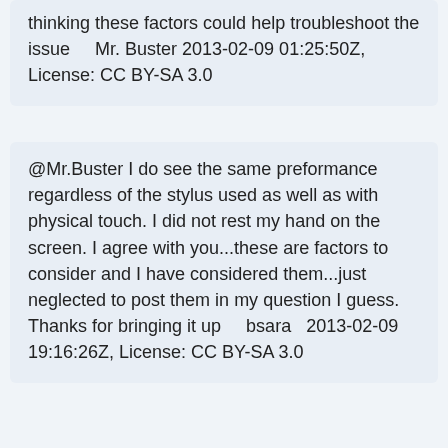thinking these factors could help troubleshoot the issue    Mr. Buster 2013-02-09 01:25:50Z, License: CC BY-SA 3.0
@Mr.Buster I do see the same preformance regardless of the stylus used as well as with physical touch. I did not rest my hand on the screen. I agree with you...these are factors to consider and I have considered them...just neglected to post them in my question I guess. Thanks for bringing it up    bsara  2013-02-09 19:16:26Z, License: CC BY-SA 3.0